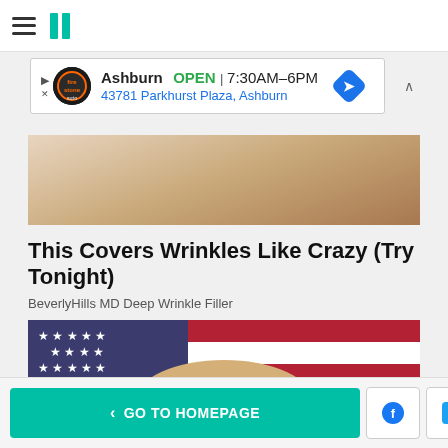HuffPost navigation bar with hamburger menu and logo
[Figure (other): Advertisement banner: Ashburn OPEN 7:30AM–6PM, 43781 Parkhurst Plaza, Ashburn, with Firestone auto logo and blue diamond navigation icon]
[Figure (photo): Partial photo showing a person's shoulder in white shirt, part of an ad for BeverlyHills MD Deep Wrinkle Filler]
This Covers Wrinkles Like Crazy (Try Tonight)
BeverlyHills MD Deep Wrinkle Filler
[Figure (photo): Close-up photo of a man's face with short light hair, in front of an American flag background]
< GO TO HOMEPAGE